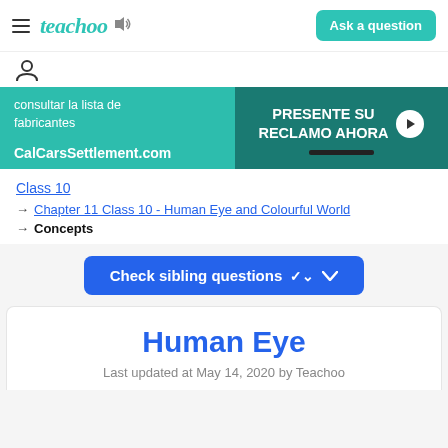teachoo | Ask a question
[Figure (screenshot): Teachoo website navigation bar with hamburger menu, teachoo logo, speaker icon, and Ask a question button]
[Figure (screenshot): Advertisement banner for CalCarsSettlement.com with text 'consultar la lista de fabricantes' and 'PRESENTE SU RECLAMO AHORA']
Class 10
→ Chapter 11 Class 10 - Human Eye and Colourful World
→ Concepts
Check sibling questions ∨
Human Eye
Last updated at May 14, 2020 by Teachoo